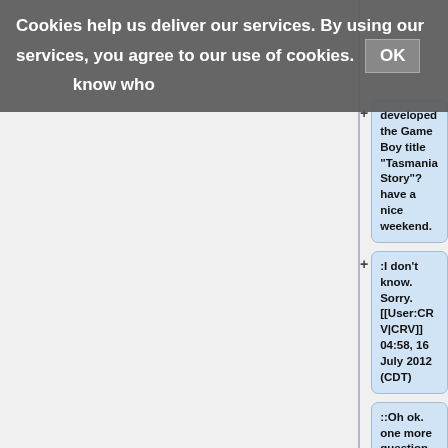Cookies help us deliver our services. By using our services, you agree to our use of cookies. OK
know who developed the Game Boy title "Tasmania Story"? have a nice weekend.
:I don't know. Sorry. [[User:CRV|CRV]] 04:58, 16 July 2012 (CDT)
::Oh ok. one more question, how about this one? http://en.wikipedia.org/wiki/The_Legend_of_Bishin . This "cheats" site